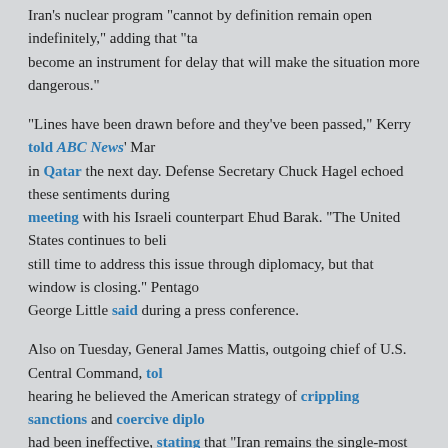Iran's nuclear program "cannot by definition remain open indefinitely," adding that "talks cannot become an instrument for delay that will make the situation more dangerous."
"Lines have been drawn before and they've been passed," Kerry told ABC News' Martha Raddatz in Qatar the next day. Defense Secretary Chuck Hagel echoed these sentiments during a meeting with his Israeli counterpart Ehud Barak. "The United States continues to believe there is still time to address this issue through diplomacy, but that window is closing," Pentagon spokesman George Little said during a press conference.
Also on Tuesday, General James Mattis, outgoing chief of U.S. Central Command, told a Senate hearing he believed the American strategy of crippling sanctions and coercive diplomacy had been ineffective, stating that "Iran remains the single-most significant regional threat to stability and prosperity." He also condemned the Iranian government's "reckless behavior and bellicose rhetoric," despite the fact that only the United States and its allies - not Iran - were threatening war, and said there might still be time to bring Iran both "to its senses" and "to its knees."
"I think we have to continue sanctions, but have other options ready," Mattis said, adding that a military strike was just "one of the options that I have to have prepared for the president."
"I'm just paid to take a rather dim view of the Iranians, frankly," he conceded.